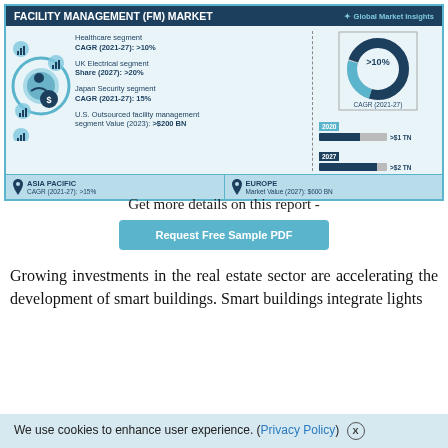[Figure (infographic): Facility Management (FM) Market infographic showing key statistics: Healthcare segment CAGR (2021-27) >10%, UK Electrical segment Share (2027) >20%, Japan Security segment CAGR (2021-27) 15%, U.S. Outsourced facility management segment Value (2023) >$200 BN. Donut chart showing >10% CAGR (2021-27). Bar chart showing 2020 >$1 TN and 2027 >$2 TN. Footer: Asia Pacific CAGR (2021-27) >15%, Europe Market Value (2027) $600 BN.]
Get more details on this report -
Request Free Sample PDF
Growing investments in the real estate sector are accelerating the development of smart buildings. Smart buildings integrate lights
We use cookies to enhance user experience. (Privacy Policy)  X